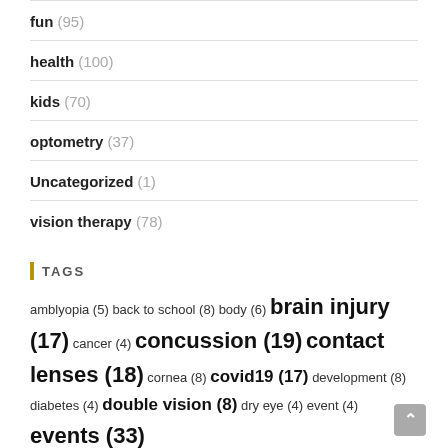fun (95)
health (100)
kids (70)
optometry (37)
Uncategorized (1)
vision therapy (78)
TAGS
amblyopia (5) back to school (8) body (6) brain injury (17) cancer (4) concussion (19) contact lenses (18) cornea (8) covid19 (17) development (8) diabetes (4) double vision (8) dry eye (4) event (4) events (33)